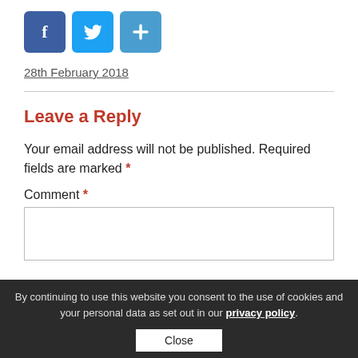[Figure (other): Social sharing icons: Facebook (blue), Twitter (blue), and a share/plus icon (blue)]
28th February 2018
Leave a Reply
Your email address will not be published. Required fields are marked *
Comment *
By continuing to use this website you consent to the use of cookies and your personal data as set out in our privacy policy.